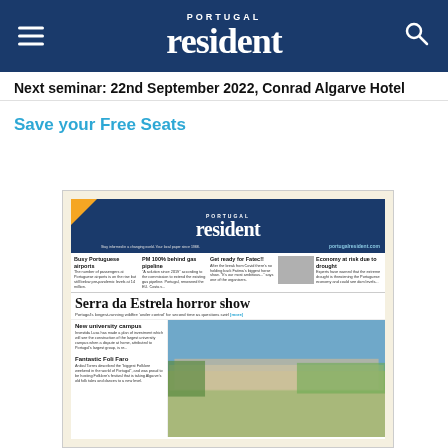PORTUGAL resident
Next seminar: 22nd September 2022, Conrad Algarve Hotel
Save your Free Seats
[Figure (screenshot): Thumbnail of Portugal Resident newspaper front page featuring the headline 'Serra da Estrela horror show' and sub-stories including 'Busy Portuguese airports', 'PM 100% behind gas pipeline', 'Get ready for Fatec!!', 'Economy at risk due to drought', 'New university campus', and 'Fantastic Foli Faro'.]